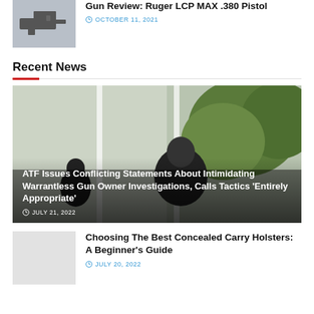[Figure (photo): Thumbnail image of a handgun (Ruger LCP MAX .380 Pistol)]
Gun Review: Ruger LCP MAX .380 Pistol
OCTOBER 11, 2021
Recent News
[Figure (photo): Outdoor scene with people, appears to be a doorbell camera or similar footage showing individuals on a porch with trees in background. Text overlay: ATF Issues Conflicting Statements About Intimidating Warrantless Gun Owner Investigations, Calls Tactics 'Entirely Appropriate']
JULY 21, 2022
[Figure (photo): Thumbnail placeholder image (light gray)]
Choosing The Best Concealed Carry Holsters: A Beginner's Guide
JULY 20, 2022